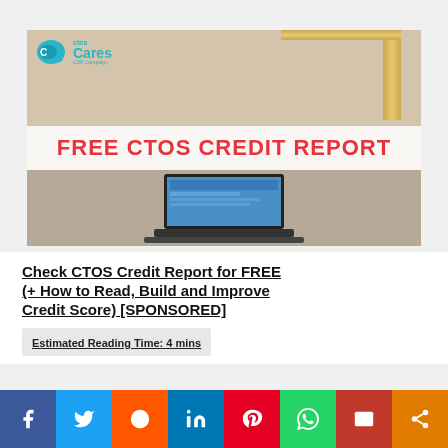[Figure (photo): CTOS Cares CSR Campaign banner image showing a laptop on a desk with 'FREE CTOS CREDIT REPORT' text overlay]
Check CTOS Credit Report for FREE (+ How to Read, Build and Improve Credit Score) [SPONSORED]
Estimated Reading Time: 4 mins
Social share bar with Facebook, Twitter, Reddit, LinkedIn, Pinterest, WhatsApp, Email, Share buttons